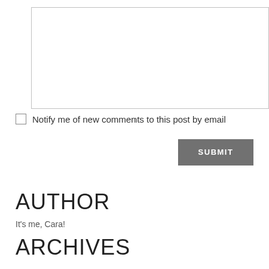[Figure (other): Empty text area input box with light gray border]
Notify me of new comments to this post by email
SUBMIT
AUTHOR
It's me, Cara!
ARCHIVES